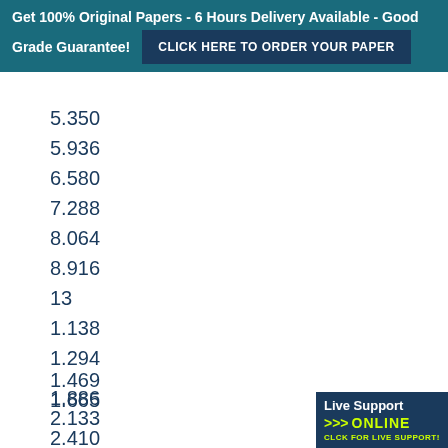Get 100% Original Papers - 6 Hours Delivery Available - Good Grade Guarantee!  CLICK HERE TO ORDER YOUR PAPER
5.350
5.936
6.580
7.288
8.064
8.916
13
1.138
1.294
1.469
1.665
1.886
2.133
2.410
2.720
[Figure (other): Live Support ONLINE banner with yellow arrows and text]